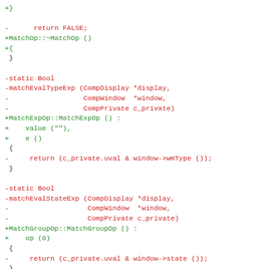Code diff showing removed (red) and added (green) lines for MatchOp, MatchExpOp, and MatchGroupOp constructors replacing static Bool match functions.